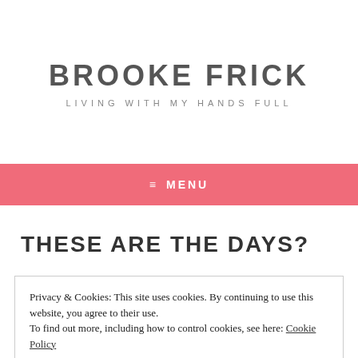BROOKE FRICK
LIVING WITH MY HANDS FULL
≡ MENU
THESE ARE THE DAYS?
Privacy & Cookies: This site uses cookies. By continuing to use this website, you agree to their use.
To find out more, including how to control cookies, see here: Cookie Policy
Close and accept